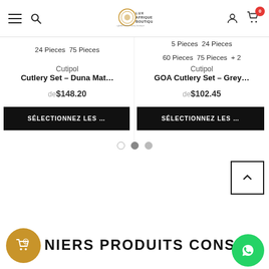Lux Afrique Boutique — navigation header with menu, search, logo, user, and cart (0 items)
24 Pieces   75 Pieces
Cutipol
Cutlery Set - Duna Mat...
de $148.20
SÉLECTIONNEZ LES ...
5 Pieces   24 Pieces
60 Pieces   75 Pieces   + 2
Cutipol
GOA Cutlery Set - Grey...
de $102.45
SÉLECTIONNEZ LES ...
DERNIERS PRODUITS CONSU...